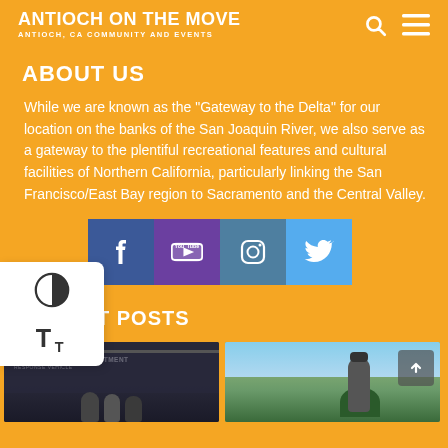ANTIOCH ON THE MOVE — ANTIOCH, CA COMMUNITY AND EVENTS
ABOUT US
While we are known as the "Gateway to the Delta" for our location on the banks of the San Joaquin River, we also serve as a gateway to the plentiful recreational features and cultural facilities of Northern California, particularly linking the San Francisco/East Bay region to Sacramento and the Central Valley.
[Figure (other): Social media icon buttons: Facebook (blue), YouTube (purple), Instagram (teal), Twitter (light blue)]
RECENT POSTS
[Figure (photo): Photo of Antioch Police Department vehicle with people in front]
[Figure (photo): Outdoor photo of a person at what appears to be a community event]